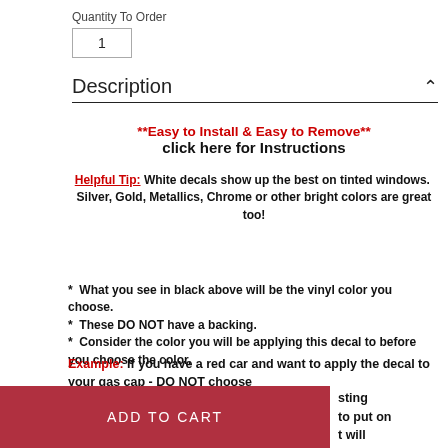Quantity To Order
1
Description
**Easy to Install & Easy to Remove**
click here for Instructions
Helpful Tip: White decals show up the best on tinted windows. Silver, Gold, Metallics, Chrome or other bright colors are great too!
* What you see in black above will be the vinyl color you choose.
* These DO NOT have a backing.
* Consider the color you will be applying this decal to before you choose the color.
Example: If you have a red car and want to apply the decal to your gas cap - DO NOT choose [sting] [to put on] [t will]
ADD TO CART